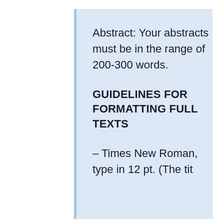Abstract: Your abstracts must be in the range of 200-300 words.
GUIDELINES FOR FORMATTING FULL TEXTS
- Times New Roman, type in 12 pt. (The tit...